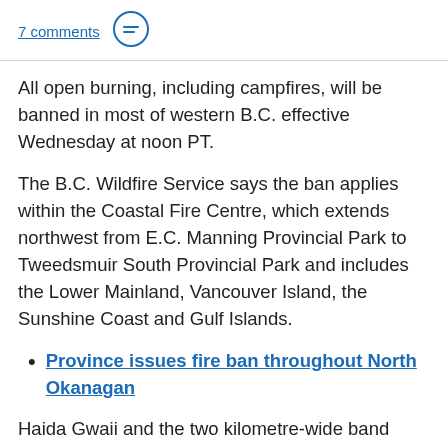7 comments
All open burning, including campfires, will be banned in most of western B.C. effective Wednesday at noon PT.
The B.C. Wildfire Service says the ban applies within the Coastal Fire Centre, which extends northwest from E.C. Manning Provincial Park to Tweedsmuir South Provincial Park and includes the Lower Mainland, Vancouver Island, the Sunshine Coast and Gulf Islands.
Province issues fire ban throughout North Okanagan
Haida Gwaii and the two kilometre-wide band known as the fog zone along the west coast of Vancouver Island are currently exempt from the ban.